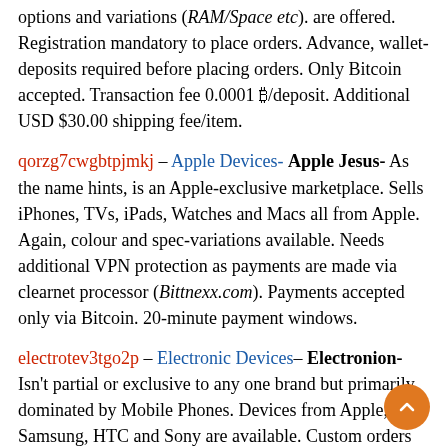options and variations (RAM/Space etc). are offered. Registration mandatory to place orders. Advance, wallet-deposits required before placing orders. Only Bitcoin accepted. Transaction fee 0.0001 ₿/deposit. Additional USD $30.00 shipping fee/item.
qorzg7cwgbtpjmkj – Apple Devices- Apple Jesus- As the name hints, is an Apple-exclusive marketplace. Sells iPhones, TVs, iPads, Watches and Macs all from Apple. Again, colour and spec-variations available. Needs additional VPN protection as payments are made via clearnet processor (Bittnexx.com). Payments accepted only via Bitcoin. 20-minute payment windows.
electrotev3tgo2p – Electronic Devices– Electronion- Isn't partial or exclusive to any one brand but primarily dominated by Mobile Phones. Devices from Apple, Samsung, HTC and Sony are available. Custom orders accepted. Advance payments required via Bitcoin. 24-hour payment window. Multiple payments (in